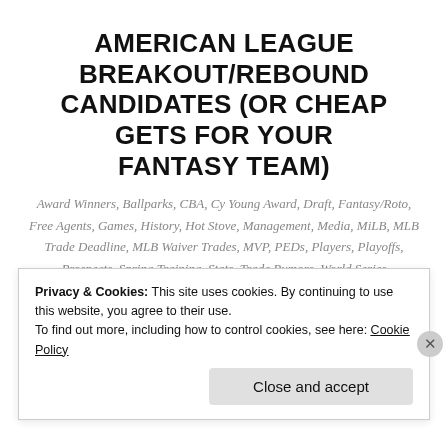AMERICAN LEAGUE BREAKOUT/REBOUND CANDIDATES (OR CHEAP GETS FOR YOUR FANTASY TEAM)
Award Winners, Ballparks, CBA, Cy Young Award, Draft, Fantasy/Roto, Free Agents, Games, History, Hot Stove, Management, Media, MiLB, MLB Trade Deadline, MLB Waiver Trades, MVP, PEDs, Players, Playoffs, Prospects, Spring Training, Stats, Trade Rumors, World Series
Let's look at some of the lesser-known players or
Privacy & Cookies: This site uses cookies. By continuing to use this website, you agree to their use. To find out more, including how to control cookies, see here: Cookie Policy